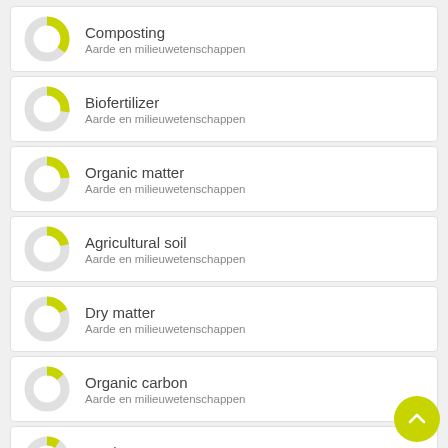Composting — Aarde en milieuwetenschappen
Biofertilizer — Aarde en milieuwetenschappen
Organic matter — Aarde en milieuwetenschappen
Agricultural soil — Aarde en milieuwetenschappen
Dry matter — Aarde en milieuwetenschappen
Organic carbon — Aarde en milieuwetenschappen
Product — Aarde en milieuwetenschappen
[Figure (infographic): Green circular scroll-to-top button with upward chevron arrow]